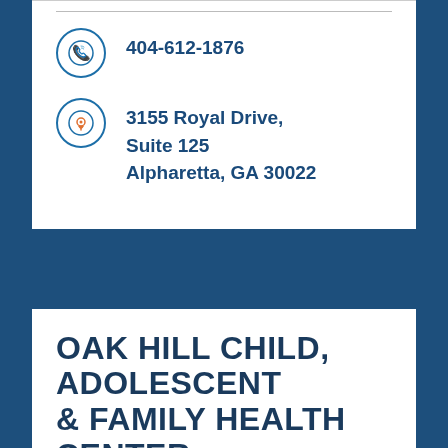404-612-1876
3155 Royal Drive, Suite 125 Alpharetta, GA 30022
OAK HILL CHILD, ADOLESCENT & FAMILY HEALTH CENTER
Child & Adolescent Services
404-612-4111